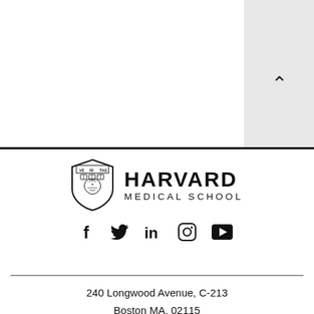[Figure (logo): Harvard Medical School shield logo with HARVARD MEDICAL SCHOOL text]
[Figure (infographic): Social media icons: Facebook, Twitter, LinkedIn, Instagram, YouTube]
240 Longwood Avenue, C-213
Boston MA, 02115
Accessibility >
Privacy Policy >